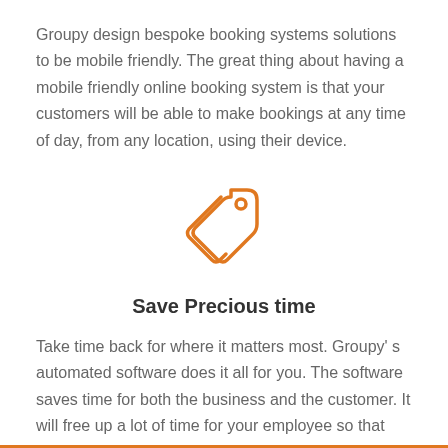Groupy design bespoke booking systems solutions to be mobile friendly. The great thing about having a mobile friendly online booking system is that your customers will be able to make bookings at any time of day, from any location, using their device.
[Figure (illustration): Orange outline icon of a price tag / label with a small circle hole at top]
Save Precious time
Take time back for where it matters most. Groupy' s automated software does it all for you. The software saves time for both the business and the customer. It will free up a lot of time for your employee so that they can focus on other productive tasks.